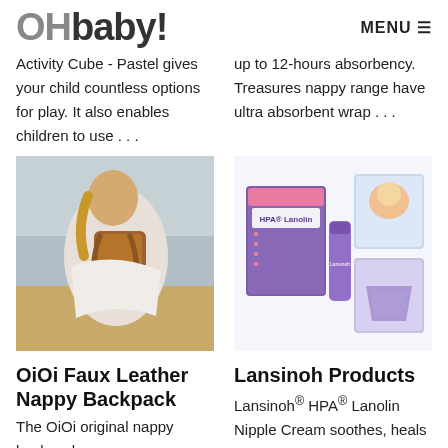OHbaby! MENU
Activity Cube - Pastel gives your child countless options for play. It also enables children to use ...
up to 12-hours absorbency. Treasures nappy range have ultra absorbent wrap ...
[Figure (photo): Woman wearing a brown faux leather backpack in a field, seen from behind]
[Figure (photo): Lansinoh product lineup including HPA Lanolin Nipple Cream and breast pads in purple packaging]
OiOi Faux Leather Nappy Backpack
Lansinoh Products
The OiOi original nappy backpack ...
Lansinoh® HPA® Lanolin Nipple Cream soothes, heals and protects sore, cracked nipples. Soothes,